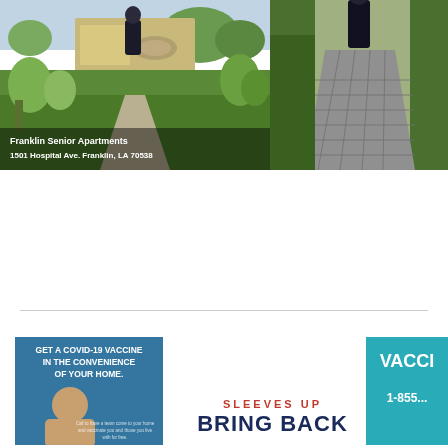[Figure (photo): Outdoor lawn and garden area of Franklin Senior Apartments with grass, plants, and a fire pit. Caption overlay reads 'Franklin Senior Apartments, 1501 Hospital Ave. Franklin, LA 70538']
[Figure (photo): Person walking on a paver brick walkway with green plants/hedges along the sides]
[Figure (infographic): COVID-19 vaccine advertisement: 'Get a COVID-19 vaccine in the convenience of your home.' with image of a person]
[Figure (infographic): Vaccine promotion: 'SLEEVES UP BRING BACK' text in red and dark blue]
[Figure (infographic): Teal/turquoise vaccine advertisement showing 'VACCI' and '1-855...' phone number]